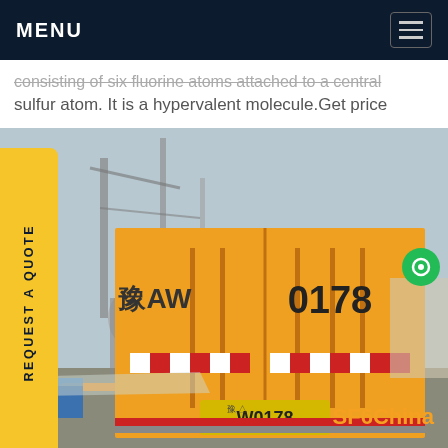MENU
consisting of six fluorine atoms attached to a central sulfur atom. It is a hypervalent molecule.Get price
[Figure (photo): Yellow industrial truck with license plate W0178 (豫AW 0178) parked at an electrical substation facility. The rear of the orange/yellow truck is visible with Chinese characters and numbers. Industrial electrical equipment and structures visible in background. SF6China watermark in orange at bottom right.]
REQUEST A QUOTE
SF6China